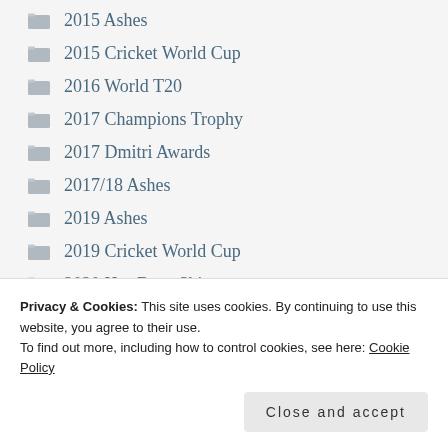2015 Ashes
2015 Cricket World Cup
2016 World T20
2017 Champions Trophy
2017 Dmitri Awards
2017/18 Ashes
2019 Ashes
2019 Cricket World Cup
2020 Has Been Shite
2021 Ashes
Privacy & Cookies: This site uses cookies. By continuing to use this website, you agree to their use.
To find out more, including how to control cookies, see here: Cookie Policy
Close and accept